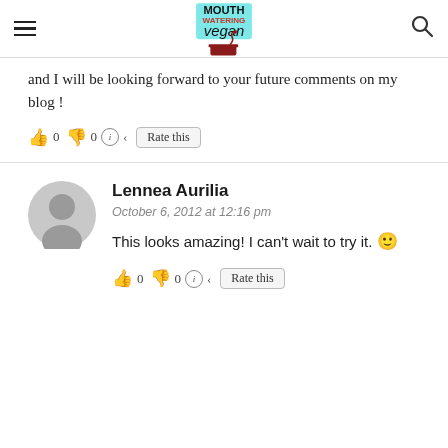Mouth Watering Vegan
and I will be looking forward to your future comments on my blog !
👍 0 👎 0 ℹ Rate this
Lennea Aurilia
October 6, 2012 at 12:16 pm
This looks amazing! I can't wait to try it. 🙂
👍 0 👎 0 ℹ Rate this